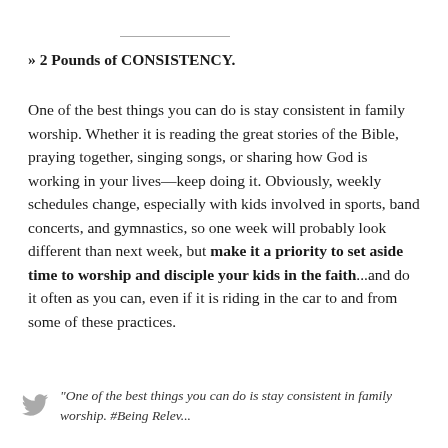» 2 Pounds of CONSISTENCY.
One of the best things you can do is stay consistent in family worship. Whether it is reading the great stories of the Bible, praying together, singing songs, or sharing how God is working in your lives—keep doing it. Obviously, weekly schedules change, especially with kids involved in sports, band concerts, and gymnastics, so one week will probably look different than next week, but make it a priority to set aside time to worship and disciple your kids in the faith...and do it often as you can, even if it is riding in the car to and from some of these practices.
"One of the best things you can do is stay consistent in family worship. #Being Relevant... or something"